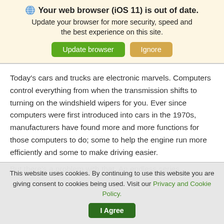Your web browser (iOS 11) is out of date. Update your browser for more security, speed and the best experience on this site.
Today's cars and trucks are electronic marvels. Computers control everything from when the transmission shifts to turning on the windshield wipers for you. Ever since computers were first introduced into cars in the 1970s, manufacturers have found more and more functions for those computers to do; some to help the engine run more efficiently and some to make driving easier.
But there's a problem with that. An endless series
This website uses cookies. By continuing to use this website you are giving consent to cookies being used. Visit our Privacy and Cookie Policy.